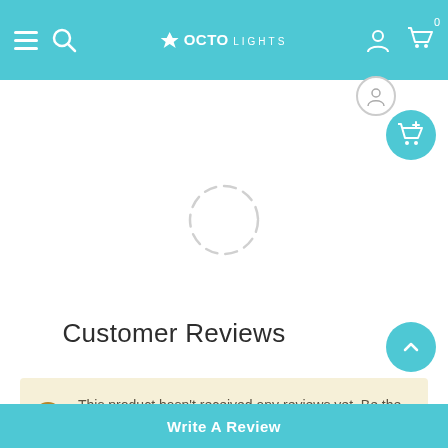OCTO LIGHTS — navigation header with hamburger menu, search, logo, user icon, cart
[Figure (screenshot): Loading spinner ring (dashed circle) in the center of the product area]
Customer Reviews
This product hasn't received any reviews yet. Be the first to review this product!
Write A Review